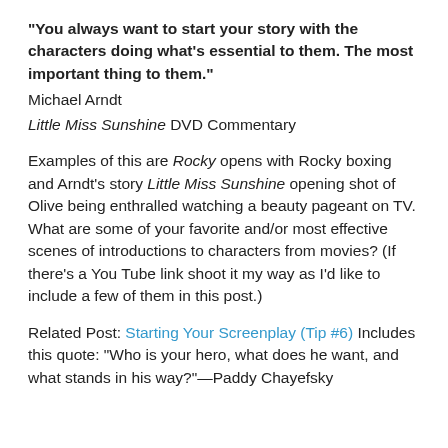“You always want to start your story with the characters doing what’s essential to them. The most important thing to them.”
Michael Arndt
Little Miss Sunshine DVD Commentary
Examples of this are Rocky opens with Rocky boxing and Arndt’s story Little Miss Sunshine opening shot of Olive being enthralled watching a beauty pageant on TV. What are some of your favorite and/or most effective scenes of introductions to characters from movies? (If there’s a You Tube link shoot it my way as I’d like to include a few of them in this post.)
Related Post: Starting Your Screenplay (Tip #6) Includes this quote: “Who is your hero, what does he want, and what stands in his way?”—Paddy Chayefsky